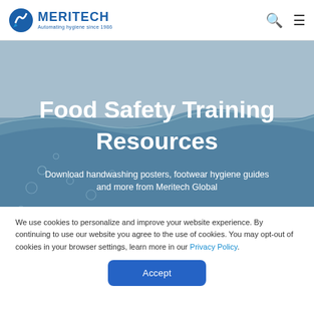MERITECH — Automating hygiene since 1986
[Figure (screenshot): Hero banner with water splash background image showing blue water surface with bubbles]
Food Safety Training Resources
Download handwashing posters, footwear hygiene guides and more from Meritech Global
We use cookies to personalize and improve your website experience. By continuing to use our website you agree to the use of cookies. You may opt-out of cookies in your browser settings, learn more in our Privacy Policy.
Accept